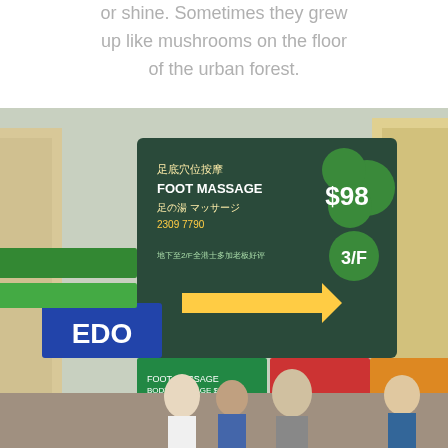or shine. Sometimes they grew up like mushrooms on the floor of the urban forest.
Well shucks. What to say about Hong Kong? I tried to explain a bit and it went on for a few thousand too many words.
Suffice to say, I was impressed. Still not sure I could live in a city like that (though I don't know if there ARE other cities like that one), but wow, that is one helluva city.
[Figure (photo): Street scene in Hong Kong showing colorful signage including a foot massage sign showing $98 on 3/F, EDO sign, and crowded urban street with people below.]